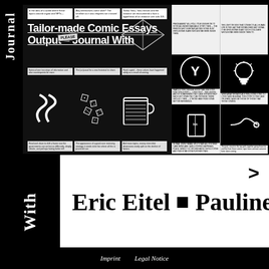Tailor-made Comic Essays Output – Journal With
[Figure (illustration): Comic essay journal preview spread showing panels with text, illustrated scenes including a winding road, dice, a coffee cup, and a grid of comic panels on the right with icons (Y symbol, lightbulb, book, plug/cord).]
Eric Eitel ■ Pauline
Imprint   Legal Notice